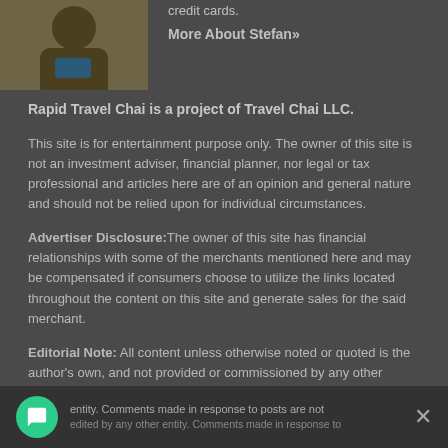[Figure (photo): Portrait photo of Stefan, a man in outdoor clothing]
credit cards.
More About Stefan»
Rapid Travel Chai is a project of Travel Chai LLC.
This site is for entertainment purpose only. The owner of this site is not an investment adviser, financial planner, nor legal or tax professional and articles here are of an opinion and general nature and should not be relied upon for individual circumstances.
Advertiser Disclosure: The owner of this site has financial relationships with some of the merchants mentioned here and may be compensated if consumers choose to utilize the links located throughout the content on this site and generate sales for the said merchant.
Editorial Note: All content unless otherwise noted or quoted is the author's own, and not provided or commissioned by any other entity. Comments made in response to posts are not